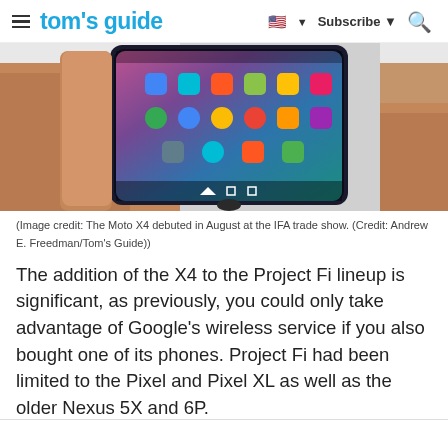tom's guide | Subscribe
[Figure (photo): A hand holding a Moto X4 smartphone showing the home screen with colorful app icons, photographed at the IFA trade show in August.]
(Image credit: The Moto X4 debuted in August at the IFA trade show. (Credit: Andrew E. Freedman/Tom's Guide))
The addition of the X4 to the Project Fi lineup is significant, as previously, you could only take advantage of Google's wireless service if you also bought one of its phones. Project Fi had been limited to the Pixel and Pixel XL as well as the older Nexus 5X and 6P.